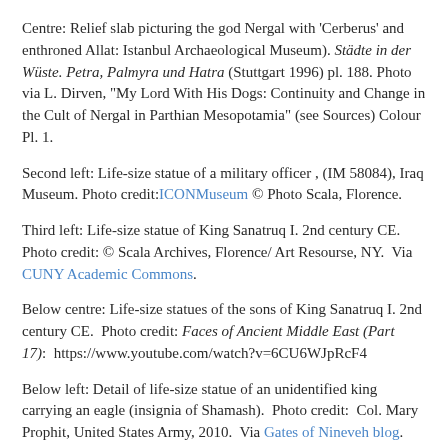Centre: Relief slab picturing the god Nergal with 'Cerberus' and enthroned Allat: Istanbul Archaeological Museum). Städte in der Wüste. Petra, Palmyra und Hatra (Stuttgart 1996) pl. 188. Photo via L. Dirven, "My Lord With His Dogs: Continuity and Change in the Cult of Nergal in Parthian Mesopotamia" (see Sources) Colour Pl. 1.
Second left: Life-size statue of a military officer , (IM 58084), Iraq Museum. Photo credit:ICONMuseum © Photo Scala, Florence.
Third left: Life-size statue of King Sanatruq I. 2nd century CE. Photo credit: © Scala Archives, Florence/ Art Resourse, NY.  Via CUNY Academic Commons.
Below centre: Life-size statues of the sons of King Sanatruq I. 2nd century CE.  Photo credit: Faces of Ancient Middle East (Part 17):  https://www.youtube.com/watch?v=6CU6WJpRcF4
Below left: Detail of life-size statue of an unidentified king carrying an eagle (insignia of Shamash).  Photo credit:  Col. Mary Prophit, United States Army, 2010.  Via Gates of Nineveh blog.